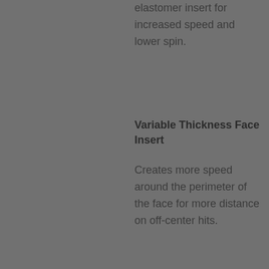elastomer insert for increased speed and lower spin.
Variable Thickness Face Insert
Creates more speed around the perimeter of the face for more distance on off-center hits.